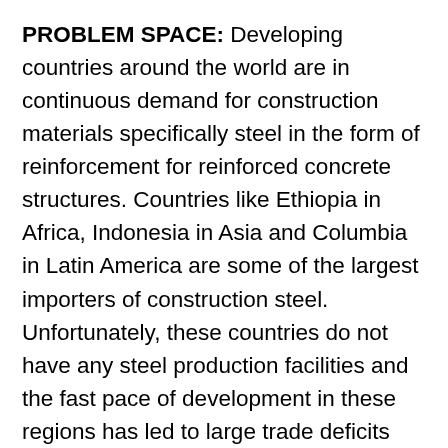PROBLEM SPACE: Developing countries around the world are in continuous demand for construction materials specifically steel in the form of reinforcement for reinforced concrete structures. Countries like Ethiopia in Africa, Indonesia in Asia and Columbia in Latin America are some of the largest importers of construction steel. Unfortunately, these countries do not have any steel production facilities and the fast pace of development in these regions has led to large trade deficits over the past years. Therefore, the governments in developing countries are looking into alternatives to replace the conventional steel reinforcement. The good news for these countries is the fact that the natural habitat of bamboo is located within these regions. Bamboo